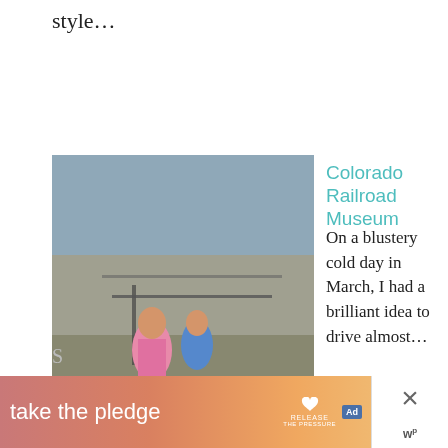style…
[Figure (photo): Photo of people including a woman in pink jacket and children looking at a railroad exhibit outdoors]
Colorado Railroad Museum
On a blustery cold day in March, I had a brilliant idea to drive almost…
[Figure (photo): Nighttime outdoor photo of a group of people, some with glow sticks, at a festival or parade]
WW: Festival of Lights Parade
What a wonderful night with family!
WHAT'S NEXT → Colorado Ballet…
S
[Figure (infographic): Advertisement banner: take the pledge, RELEASE logo, ad marker, close X, WP logo]